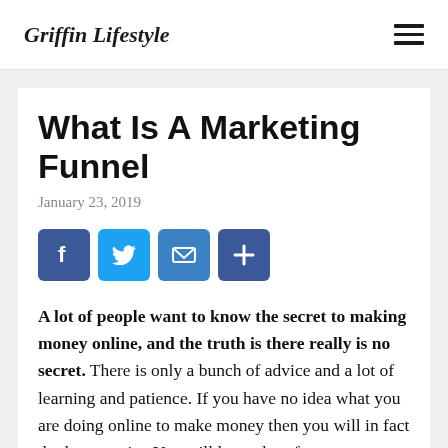Griffin Lifestyle
What Is A Marketing Funnel
January 23, 2019
[Figure (infographic): Social share buttons: Facebook, Twitter, Email, and Add/Share]
A lot of people want to know the secret to making money online, and the truth is there really is no secret. There is only a bunch of advice and a lot of learning and patience. If you have no idea what you are doing online to make money then you will in fact do the opposite. You will lose a lot of money. Another thing people want to know is what is a marketing funnel or also know as a sales funnel/landing page. What a